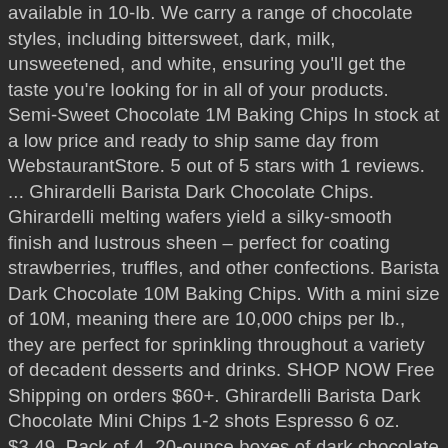available in 10-lb. We carry a range of chocolate styles, including bittersweet, dark, milk, unsweetened, and white, ensuring you'll get the taste you're looking for in all of your products. Semi-Sweet Chocolate 1M Baking Chips In stock at a low price and ready to ship same day from WebstaurantStore. 5 out of 5 stars with 1 reviews. ... Ghirardelli Barista Dark Chocolate Chips. Ghirardelli melting wafers yield a silky-smooth finish and lustrous sheen – perfect for coating strawberries, truffles, and other confections. Barista Dark Chocolate 10M Baking Chips. With a mini size of 10M, meaning there are 10,000 chips per lb., they are perfect for sprinkling throughout a variety of decadent desserts and drinks. SHOP NOW Free Shipping on orders $60+. Ghirardelli Barista Dark Chocolate Mini Chips 1-2 shots Espresso 6 oz. $3.49. Pack of 4, 20-ounce boxes of dark chocolate brownie mix (total 80 ounces);Real Ghirardelli dark chocolate chips in the mix;A favorite for dark chocolate lovers;Easy to make;Better chocolate... In stock at a low price and ready to ship same day from WebstaurantStore. plus. Ghirardelli Triple Chocolate Brownie Mix, Semi-Sweet Milk